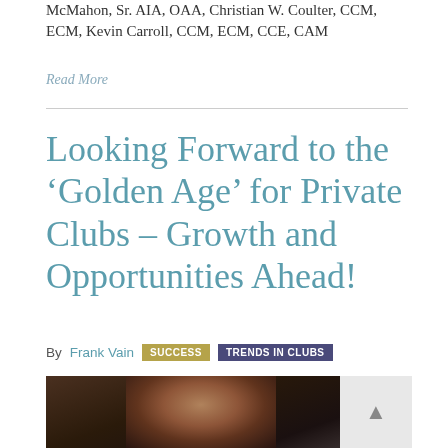McMahon, Sr. AIA, OAA, Christian W. Coulter, CCM, ECM, Kevin Carroll, CCM, ECM, CCE, CAM
Read More
Looking Forward to the ‘Golden Age’ for Private Clubs – Growth and Opportunities Ahead!
By Frank Vain SUCCESS TRENDS IN CLUBS
[Figure (photo): Partial view of a person's face/head in a dark setting, appears to be a man]